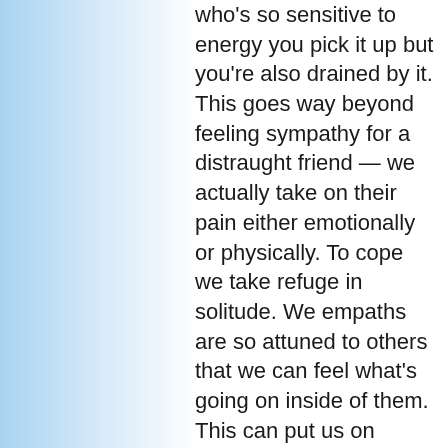who's so sensitive to energy you pick it up but you're also drained by it. This goes way beyond feeling sympathy for a distraught friend — we actually take on their pain either emotionally or physically. To cope we take refuge in solitude. We empaths are so attuned to others that we can feel what's going on inside of them. This can put us on energy overload and aggravate everything from chronic fatigue to overeating.

Growing up, my girlfriends